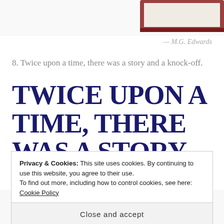[Figure (photo): Partial view of a book or framed picture at the top of the page, showing a dark reddish-brown border/frame against white background]
— M.G. Edwards
8. Twice upon a time, there was a story and a knock-off.
TWICE UPON A TIME, THERE WAS A STORY AND A KNOCK-OFF.
[Figure (photo): Two piggy banks partially visible at the bottom — an orange/red one on the left and a white one on the right, peeking up from the bottom of the page]
Privacy & Cookies: This site uses cookies. By continuing to use this website, you agree to their use.
To find out more, including how to control cookies, see here: Cookie Policy
Close and accept